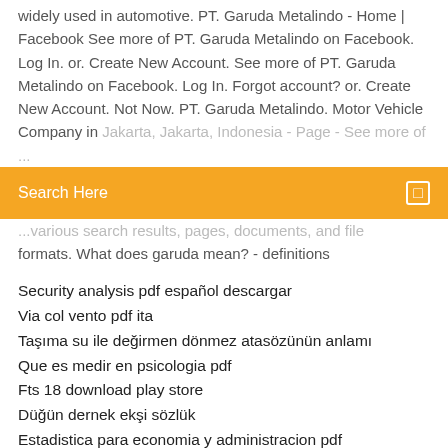widely used in automotive. PT. Garuda Metalindo - Home | Facebook See more of PT. Garuda Metalindo on Facebook. Log In. or. Create New Account. See more of PT. Garuda Metalindo on Facebook. Log In. Forgot account? or. Create New Account. Not Now. PT. Garuda Metalindo. Motor Vehicle Company in
[Figure (screenshot): Orange search bar with 'Search Here' placeholder text and a small square icon on the right]
formats. What does garuda mean? - definitions
Security analysis pdf español descargar
Via col vento pdf ita
Taşıma su ile değirmen dönmez atasözünün anlamı
Que es medir en psicologia pdf
Fts 18 download play store
Düğün dernek ekşi sözlük
Estadistica para economia y administracion pdf
Funcion de la alfa 1 antitripsina pdf